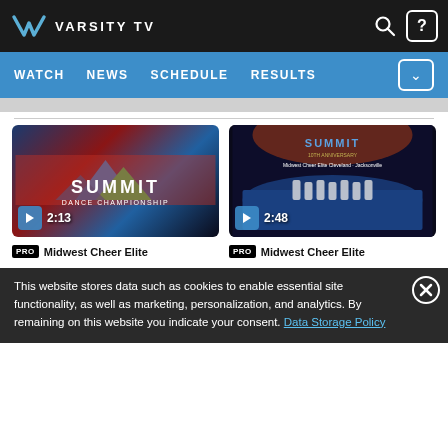VARSITY TV
WATCH NEWS SCHEDULE RESULTS
[Figure (screenshot): Video thumbnail for Summit Dance Championship, showing Summit logo with mountain shapes in blue and green. Duration: 2:13]
PRO Midwest Cheer Elite
[Figure (screenshot): Video thumbnail for Summit cheer competition showing cheerleaders on a blue mat. Text overlay: SUMMIT. Duration: 2:48]
PRO Midwest Cheer Elite
This website stores data such as cookies to enable essential site functionality, as well as marketing, personalization, and analytics. By remaining on this website you indicate your consent. Data Storage Policy